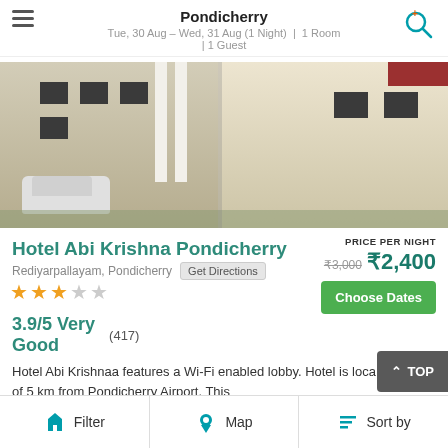Pondicherry
Tue, 30 Aug – Wed, 31 Aug (1 Night) | 1 Room | 1 Guest
[Figure (photo): Exterior photo of Hotel Abi Krishna Pondicherry showing two building facades with parked car]
Hotel Abi Krishna Pondicherry
Rediyarpallayam, Pondicherry  Get Directions
★★★☆☆
PRICE PER NIGHT
₹3,000  ₹2,400
Choose Dates
3.9/5 Very Good   (417)
Hotel Abi Krishnaa features a Wi-Fi enabled lobby. Hotel is loca adistance of 5 km from Pondicherry Airport. This